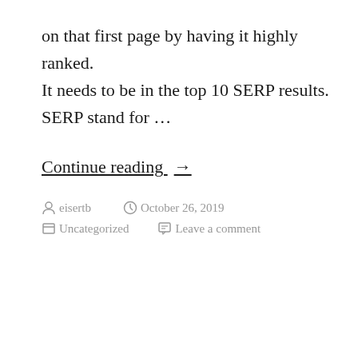on that first page by having it highly ranked. It needs to be in the top 10 SERP results. SERP stand for …
Continue reading →
eisertb   October 26, 2019   Uncategorized   Leave a comment